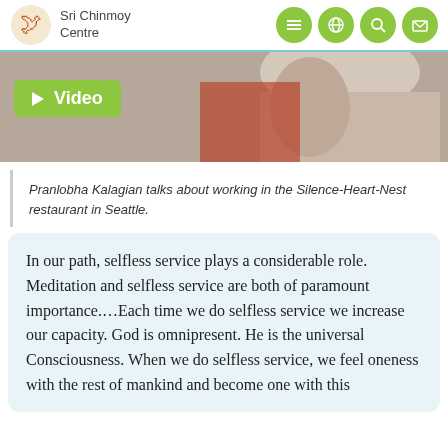Sri Chinmoy Centre
[Figure (screenshot): Video thumbnail showing a person with a green 'Video' badge overlay]
Pranlobha Kalagian talks about working in the Silence-Heart-Nest restaurant in Seattle.
In our path, selfless service plays a considerable role. Meditation and selfless service are both of paramount importance.…Each time we do selfless service we increase our capacity. God is omnipresent. He is the universal Consciousness. When we do selfless service, we feel oneness with the rest of mankind and become one with this